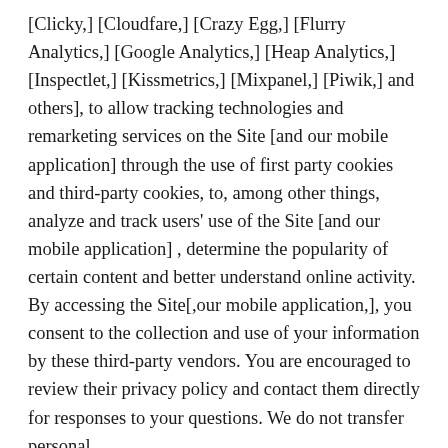[Clicky,] [Cloudfare,] [Crazy Egg,] [Flurry Analytics,] [Google Analytics,] [Heap Analytics,] [Inspectlet,] [Kissmetrics,] [Mixpanel,] [Piwik,] and others], to allow tracking technologies and remarketing services on the Site [and our mobile application] through the use of first party cookies and third-party cookies, to, among other things, analyze and track users' use of the Site [and our mobile application] , determine the popularity of certain content and better understand online activity. By accessing the Site[,our mobile application,], you consent to the collection and use of your information by these third-party vendors. You are encouraged to review their privacy policy and contact them directly for responses to your questions. We do not transfer personal